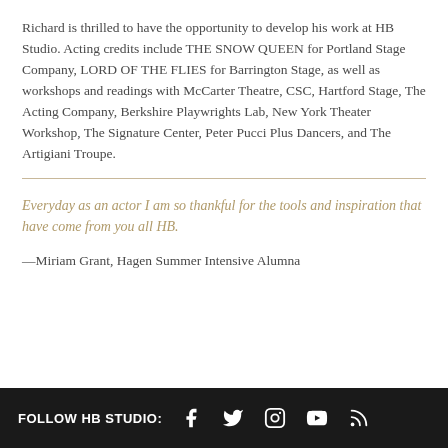Richard is thrilled to have the opportunity to develop his work at HB Studio. Acting credits include THE SNOW QUEEN for Portland Stage Company, LORD OF THE FLIES for Barrington Stage, as well as workshops and readings with McCarter Theatre, CSC, Hartford Stage, The Acting Company, Berkshire Playwrights Lab, New York Theater Workshop, The Signature Center, Peter Pucci Plus Dancers, and The Artigiani Troupe.
Everyday as an actor I am so thankful for the tools and inspiration that have come from you all HB.
—Miriam Grant, Hagen Summer Intensive Alumna
FOLLOW HB STUDIO: [Facebook] [Twitter] [Instagram] [YouTube] [RSS]